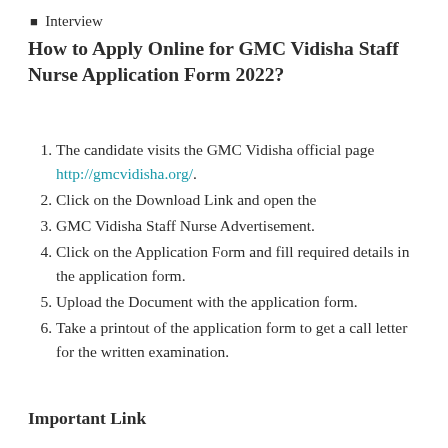Interview
How to Apply Online for GMC Vidisha Staff Nurse Application Form 2022?
The candidate visits the GMC Vidisha official page http://gmcvidisha.org/.
Click on the Download Link and open the
GMC Vidisha Staff Nurse Advertisement.
Click on the Application Form and fill required details in the application form.
Upload the Document with the application form.
Take a printout of the application form to get a call letter for the written examination.
Important Link